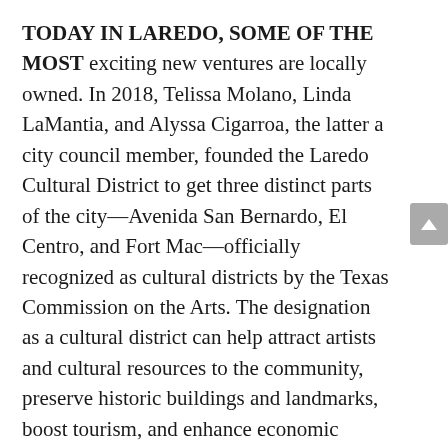TODAY IN LAREDO, SOME OF THE MOST exciting new ventures are locally owned. In 2018, Telissa Molano, Linda LaMantia, and Alyssa Cigarroa, the latter a city council member, founded the Laredo Cultural District to get three distinct parts of the city—Avenida San Bernardo, El Centro, and Fort Mac—officially recognized as cultural districts by the Texas Commission on the Arts. The designation as a cultural district can help attract artists and cultural resources to the community, preserve historic buildings and landmarks, boost tourism, and enhance economic development. Now the organization is headquartered in Casa Ortíz, the oldest continually occupied residence in South Texas.